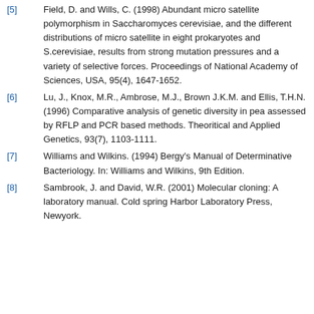[5] Field, D. and Wills, C. (1998) Abundant micro satellite polymorphism in Saccharomyces cerevisiae, and the different distributions of micro satellite in eight prokaryotes and S.cerevisiae, results from strong mutation pressures and a variety of selective forces. Proceedings of National Academy of Sciences, USA, 95(4), 1647-1652.
[6] Lu, J., Knox, M.R., Ambrose, M.J., Brown J.K.M. and Ellis, T.H.N. (1996) Comparative analysis of genetic diversity in pea assessed by RFLP and PCR based methods. Theoritical and Applied Genetics, 93(7), 1103-1111.
[7] Williams and Wilkins. (1994) Bergy's Manual of Determinative Bacteriology. In: Williams and Wilkins, 9th Edition.
[8] Sambrook, J. and David, W.R. (2001) Molecular cloning: A laboratory manual. Cold spring Harbor Laboratory Press, Newyork.